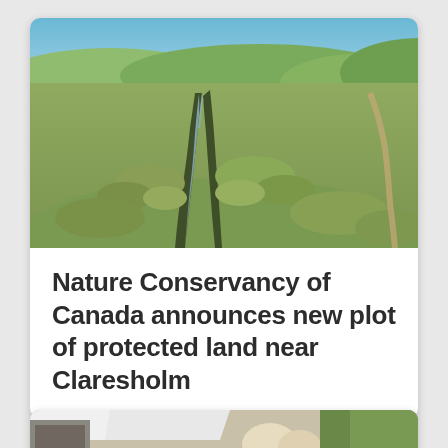[Figure (photo): Aerial/landscape photo of a green rolling prairie with a small creek or stream winding through shrubs and grasses under a blue sky.]
Nature Conservancy of Canada announces new plot of protected land near Claresholm
[Figure (photo): Partially visible photo at the bottom of the page showing what appears to be a white tent or canopy and some food items outdoors.]